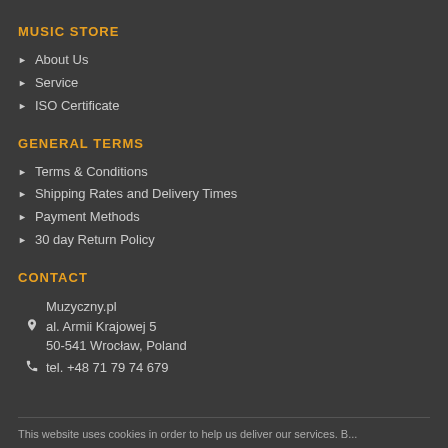MUSIC STORE
About Us
Service
ISO Certificate
GENERAL TERMS
Terms & Conditions
Shipping Rates and Delivery Times
Payment Methods
30 day Return Policy
CONTACT
Muzyczny.pl
al. Armii Krajowej 5
50-541 Wrocław, Poland
tel. +48 71 79 74 679
This website uses cookies in order to help us deliver our services. B...